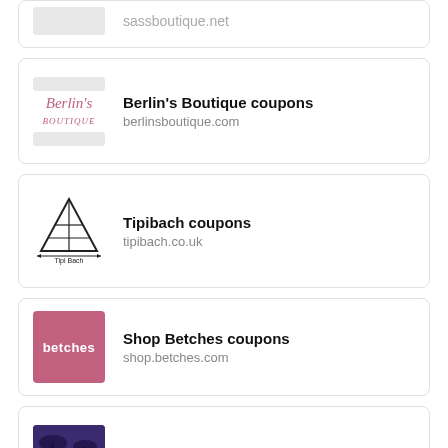[Figure (logo): Partial card showing sassboutique.net logo placeholder and URL]
sassboutique.net
[Figure (logo): Berlin's Boutique logo with cursive text on white background with placeholder bars]
Berlin's Boutique coupons
berlinsboutique.com
[Figure (logo): Tipibach logo - triangle/tipi tent shape with text 'Tipi Bach']
Tipibach coupons
tipibach.co.uk
[Figure (logo): betches logo - pink/mauve square with white 'betches' text]
Shop Betches coupons
shop.betches.com
[Figure (logo): Streetgarm logo - dark purple/blue background with palm trees and 'SG' letters]
Streetgarm discount codes